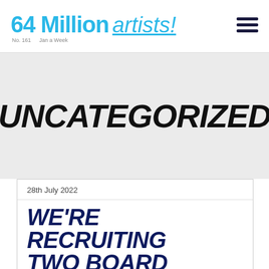64 Million artists! No. 161  Jan a Week
UNCATEGORIZED
28th July 2022
WE'RE RECRUITING TWO BOARD